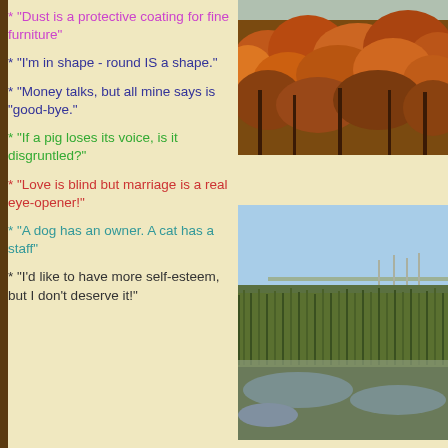* "Dust is a protective coating for fine furniture"
* "I'm in shape - round IS a shape."
* "Money talks, but all mine says is "good-bye."
[Figure (photo): Autumn forest with orange and brown foliage on a hillside]
* "If a pig loses its voice, is it disgruntled?"
* "Love is blind but marriage is a real eye-opener!"
[Figure (photo): Wetland landscape with reeds, water, and a blue sky]
* "A dog has an owner. A cat has a staff"
* "I'd like to have more self-esteem, but I don't deserve it!"